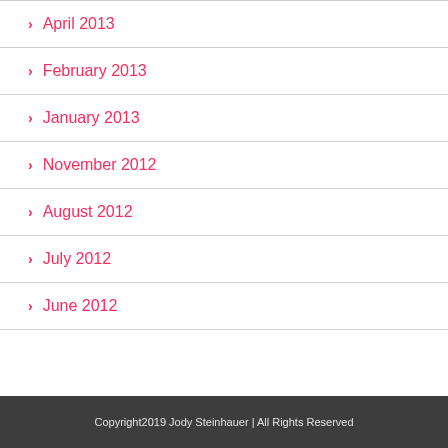April 2013
February 2013
January 2013
November 2012
August 2012
July 2012
June 2012
Copyright2019 Jody Steinhauer | All Rights Reserved